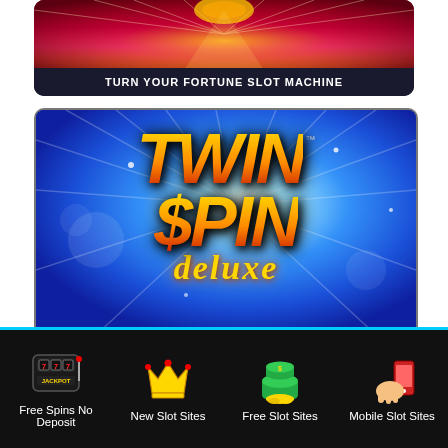[Figure (screenshot): Top portion of a slot machine game card showing red gradient background with gold light burst - Turn Your Fortune Slot Machine]
TURN YOUR FORTUNE SLOT MACHINE
[Figure (screenshot): Twin Spin Deluxe slot machine game card with blue radial background and gold/orange stylized text logo]
TWIN SPIN DELUXE SLOT MACHINE
[Figure (infographic): Footer navigation bar with four icons: jackpot slot machine (Free Spins No Deposit), crown (New Slot Sites), money stack (Free Slot Sites), mobile phone (Mobile Slot Sites)]